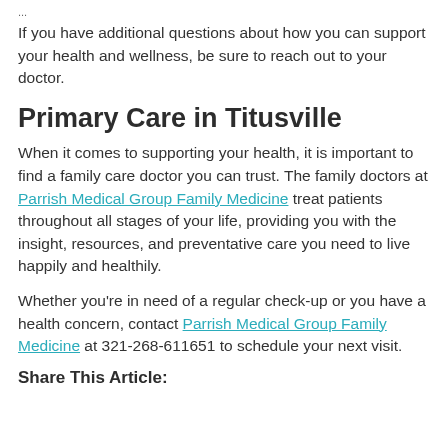...
If you have additional questions about how you can support your health and wellness, be sure to reach out to your doctor.
Primary Care in Titusville
When it comes to supporting your health, it is important to find a family care doctor you can trust. The family doctors at Parrish Medical Group Family Medicine treat patients throughout all stages of your life, providing you with the insight, resources, and preventative care you need to live happily and healthily.
Whether you're in need of a regular check-up or you have a health concern, contact Parrish Medical Group Family Medicine at 321-268-611651 to schedule your next visit.
Share This Article: